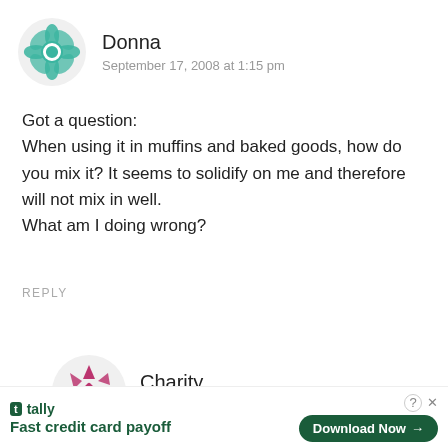[Figure (illustration): Teal geometric flower/mandala avatar icon for user Donna]
Donna
September 17, 2008 at 1:15 pm
Got a question:
When using it in muffins and baked goods, how do you mix it? It seems to solidify on me and therefore will not mix in well.
What am I doing wrong?
REPLY
[Figure (illustration): Pink/magenta geometric arrow/star pattern avatar icon for user Charity]
Charity
November 11, 2009 at 11:08 pm
Fast credit card payoff